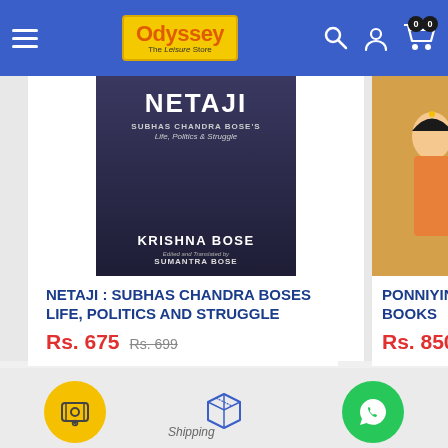[Figure (screenshot): Odyssey - The Leisure Store logo with yellow background and orange text]
[Figure (photo): Book cover: Netaji - Subhas Chandra Bose's Life, Politics and Struggle by Krishna Bose, dark cover]
NETAJI : SUBHAS CHANDRA BOSES LIFE, POLITICS AND STRUGGLE
Rs. 675   Rs. 699
[Figure (illustration): Book cover: Ponniyin Selvan - partial view, showing illustrated women in traditional Indian attire]
PONNIYIN SELVAN-T... BOOKS
Rs. 850   Rs. 1,200
[Figure (infographic): Bottom icons: yellow circle with coin/money icon, box/package icon, green circle with WhatsApp icon]
Shipping